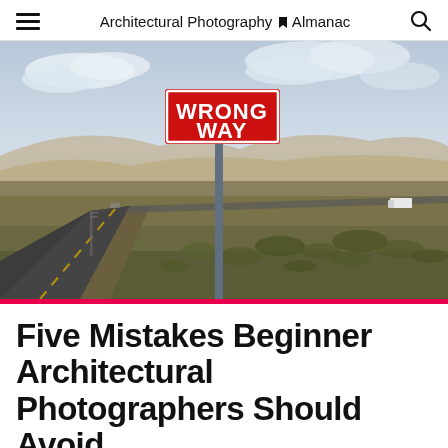Architectural Photography Almanac
[Figure (photo): A 'WRONG WAY' red road sign in a desert landscape with a highway, dry scrubland, hills in the background, and a cloudy sky.]
Five Mistakes Beginner Architectural Photographers Should Avoid